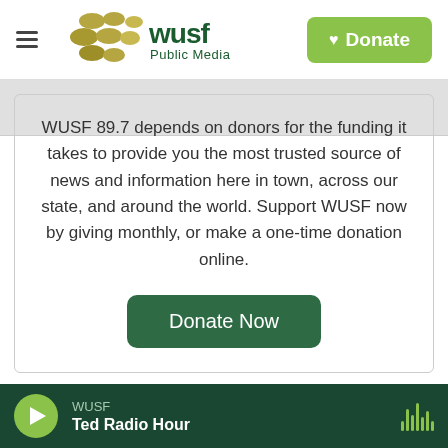[Figure (logo): WUSF Public Media logo with golden/olive circular shapes and dark green wordmark]
Donate
WUSF 89.7 depends on donors for the funding it takes to provide you the most trusted source of news and information here in town, across our state, and around the world. Support WUSF now by giving monthly, or make a one-time donation online.
Donate Now
WUSF
Ted Radio Hour